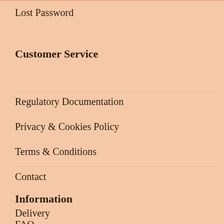Lost Password
Customer Service
Regulatory Documentation
Privacy & Cookies Policy
Terms & Conditions
Contact
Information
Delivery
FAQ